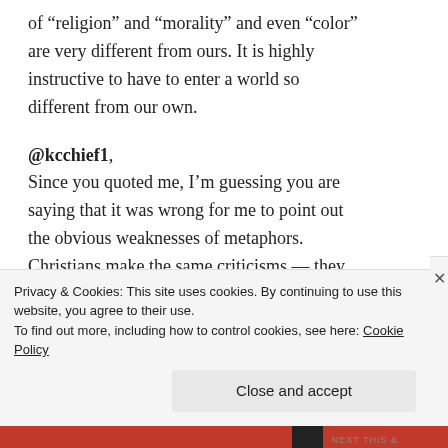of “religion” and “morality” and even “color” are very different from ours. It is highly instructive to have to enter a world so different from our own.
@kcchief1,
Since you quoted me, I’m guessing you are saying that it was wrong for me to point out the obvious weaknesses of metaphors. Christians make the same criticisms — they love metaphors, because they stir the masses. As long as the crowd cheers, those who
Privacy & Cookies: This site uses cookies. By continuing to use this website, you agree to their use.
To find out more, including how to control cookies, see here: Cookie Policy
Close and accept